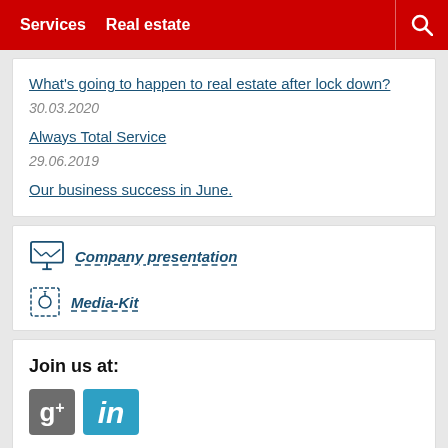Services  Real estate
What's going to happen to real estate after lock down?
30.03.2020
Always Total Service
29.06.2019
Our business success in June.
Company presentation
Media-Kit
Join us at:
[Figure (logo): Google Plus and LinkedIn social media icons]